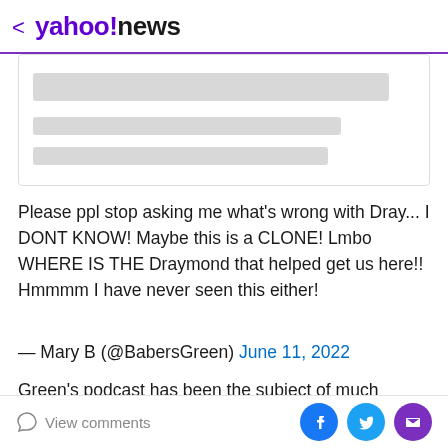< yahoo!news
[Figure (screenshot): Blurred/placeholder content block representing a social media embed or article preview with gray loading bars]
Please ppl stop asking me what's wrong with Dray... I DONT KNOW! Maybe this is a CLONE! Lmbo WHERE IS THE Draymond that helped get us here!! Hmmmm I have never seen this either!
— Mary B (@BabersGreen) June 11, 2022
Green's podcast has been the subject of much consternation in the NBA Finals. Some attributed Green's lack of success to his postgame podcasting — including
View comments